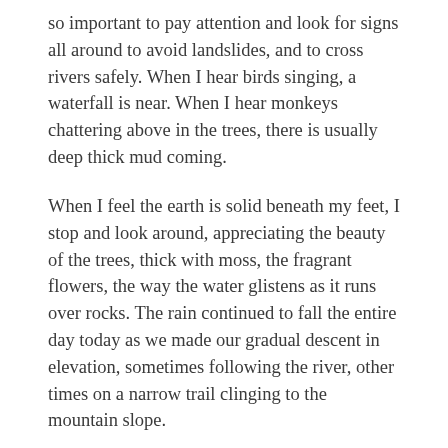so important to pay attention and look for signs all around to avoid landslides, and to cross rivers safely. When I hear birds singing, a waterfall is near. When I hear monkeys chattering above in the trees, there is usually deep thick mud coming.
When I feel the earth is solid beneath my feet, I stop and look around, appreciating the beauty of the trees, thick with moss, the fragrant flowers, the way the water glistens as it runs over rocks. The rain continued to fall the entire day today as we made our gradual descent in elevation, sometimes following the river, other times on a narrow trail clinging to the mountain slope.
Once, we passed through a mudslide in progress. Slowly and with careful attentive guidance, I stepped ankle deep, then knee deep, as I felt the mud move slowly around and past each leg. The earth was moving, under my feet, like I've never experienced before. I thanked the